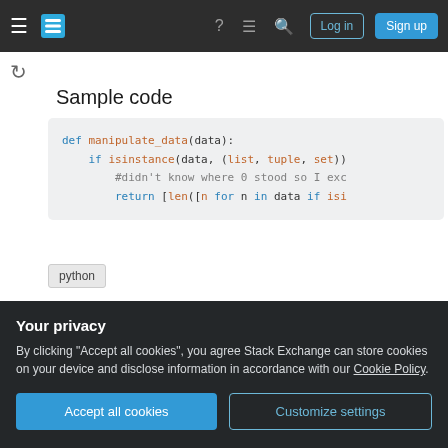Stack Exchange navigation bar with hamburger menu, logo, help, chat, search icons, Log in and Sign up buttons
Sample code
def manipulate_data(data):
    if isinstance(data, (list, tuple, set))
        #didn't know where 0 stood so I exc
        return [len([n for n in data if isi
python
Share
Your privacy
By clicking "Accept all cookies", you agree Stack Exchange can store cookies on your device and disclose information in accordance with our Cookie Policy.
Accept all cookies   Customize settings